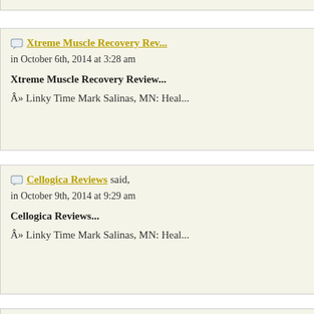active cleanse...
Â» Linky Time Mark Salinas, MN: Heal...
Xtreme Muscle Recovery Rev... in October 6th, 2014 at 3:28 am
Xtreme Muscle Recovery Review...
Â» Linky Time Mark Salinas, MN: Heal...
Cellogica Reviews said, in October 9th, 2014 at 9:29 am
Cellogica Reviews...
Â» Linky Time Mark Salinas, MN: Heal...
Green Coffee Max Cleanse Re... in October 9th, 2014 at 2:14 pm
Green Coffee Max Cleanse Review...